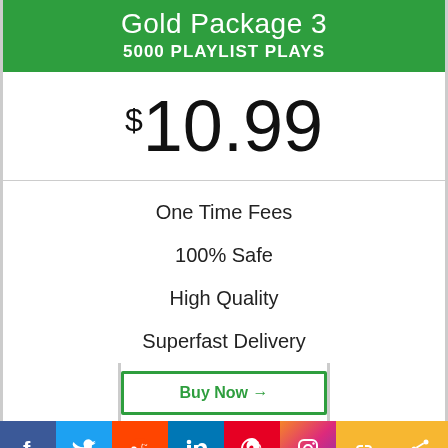Gold Package 3
5000 Playlist Plays
$10.99
One Time Fees
100% Safe
High Quality
Superfast Delivery
[Figure (infographic): Social media share bar with icons for Facebook, Twitter, Reddit, LinkedIn, Pinterest, Instagram, and share buttons]